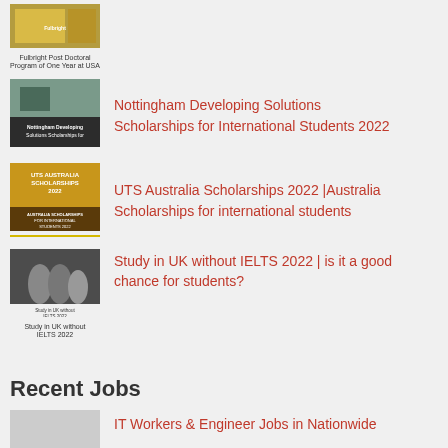[Figure (photo): Partial thumbnail of Fulbright Post Doctoral Program at USA with caption below]
[Figure (photo): Thumbnail for Nottingham Developing Solutions Scholarships for International Students 2022]
Nottingham Developing Solutions Scholarships for International Students 2022
[Figure (photo): Thumbnail for UTS Australia Scholarships 2022]
UTS Australia Scholarships 2022 |Australia Scholarships for international students
[Figure (photo): Thumbnail for Study in UK without IELTS 2022]
Study in UK without IELTS 2022 | is it a good chance for students?
Recent Jobs
IT Workers & Engineer Jobs in Nationwide